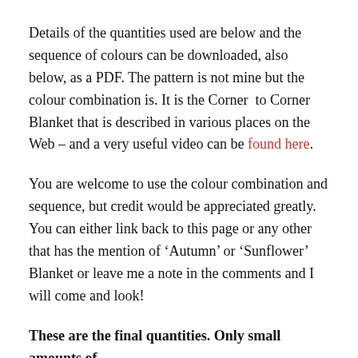Details of the quantities used are below and the sequence of colours can be downloaded, also below, as a PDF. The pattern is not mine but the colour combination is. It is the Corner  to Corner Blanket that is described in various places on the Web – and a very useful video can be found here.
You are welcome to use the colour combination and sequence, but credit would be appreciated greatly. You can either link back to this page or any other that has the mention of 'Autumn' or 'Sunflower' Blanket or leave me a note in the comments and I will come and look!
These are the final quantities. Only small amounts of